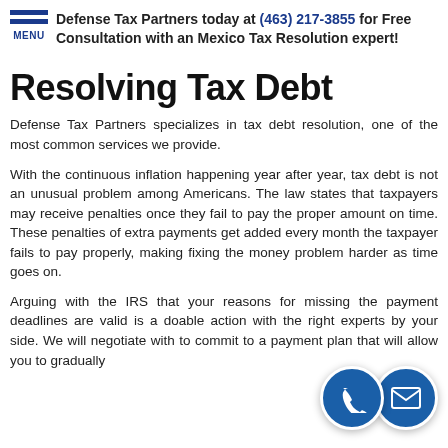Defense Tax Partners today at (463) 217-3855 for Free Consultation with an Mexico Tax Resolution expert!
Resolving Tax Debt
Defense Tax Partners specializes in tax debt resolution, one of the most common services we provide.
With the continuous inflation happening year after year, tax debt is not an unusual problem among Americans. The law states that taxpayers may receive penalties once they fail to pay the proper amount on time. These penalties of extra payments get added every month the taxpayer fails to pay properly, making fixing the money problem harder as time goes on.
Arguing with the IRS that your reasons for missing the payment deadlines are valid is a doable action with the right experts by your side. We will negotiate with to commit to a payment plan that will allow you to gradually